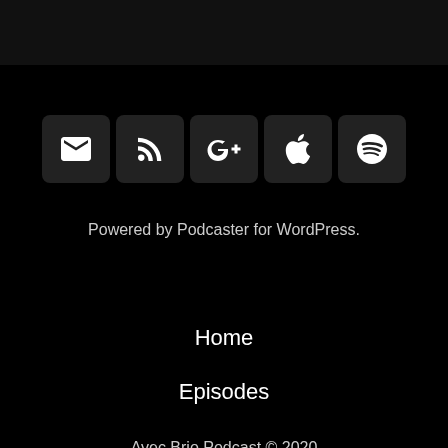[Figure (infographic): Row of five icon buttons: email/envelope, RSS feed, Google+, Apple, Spotify]
Powered by Podcaster for WordPress.
Home
Episodes
Avec Brio Podcast © 2020